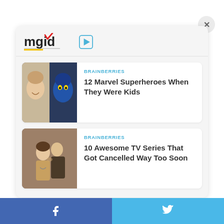[Figure (logo): MGID logo with play button icon]
[Figure (photo): Article thumbnail: Marvel superheroes split image showing young Jennifer Lawrence and blue creature]
BRAINBERRIES
12 Marvel Superheroes When They Were Kids
[Figure (photo): Article thumbnail: scene from a TV series with two people]
BRAINBERRIES
10 Awesome TV Series That Got Cancelled Way Too Soon
Facebook  Twitter